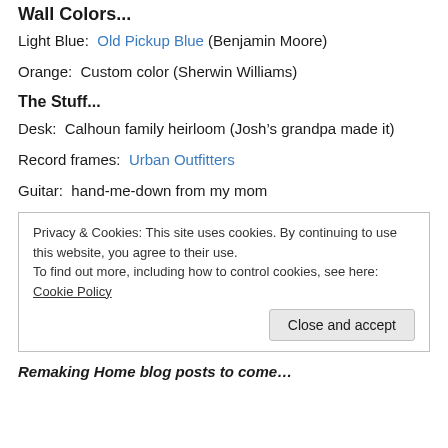Wall Colors...
Light Blue:  Old Pickup Blue (Benjamin Moore)
Orange:  Custom color (Sherwin Williams)
The Stuff...
Desk:  Calhoun family heirloom (Josh’s grandpa made it)
Record frames:  Urban Outfitters
Guitar:  hand-me-down from my mom
Privacy & Cookies: This site uses cookies. By continuing to use this website, you agree to their use. To find out more, including how to control cookies, see here: Cookie Policy
Remaking Home blog posts to come…